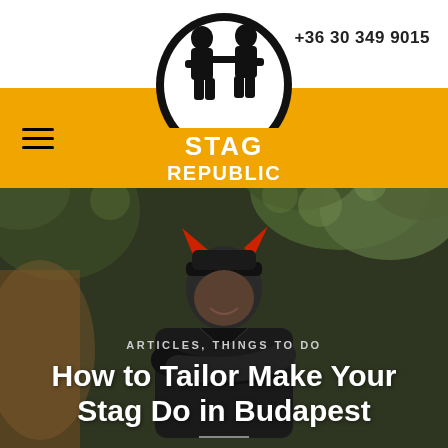+36 30 349 9015
[Figure (logo): Stag Republic logo — black and white illustration of two men arm-in-arm above bold text STAG REPUBLIC in white on orange]
[Figure (photo): Man in black outfit with devil horns hat, arms crossed, smiling, with green foliage background]
ARTICLES, THINGS TO DO
How to Tailor Make Your Stag Do in Budapest